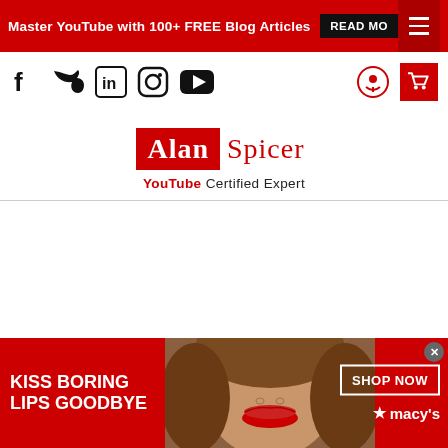Master YouTube with 100+ FREE Blog Articles  READ MORE
[Figure (screenshot): Social media icons: Facebook, Twitter, LinkedIn, Instagram, YouTube on left; podcast and notification icons on right]
[Figure (logo): Alan Spicer YouTube Certified Expert logo - Alan in red box, Spicer in red text]
YouTube Certified Expert
[Figure (advertisement): Macy's advertisement banner: KISS BORING LIPS GOODBYE with woman model and red lips, SHOP NOW button and macy's star logo on right]